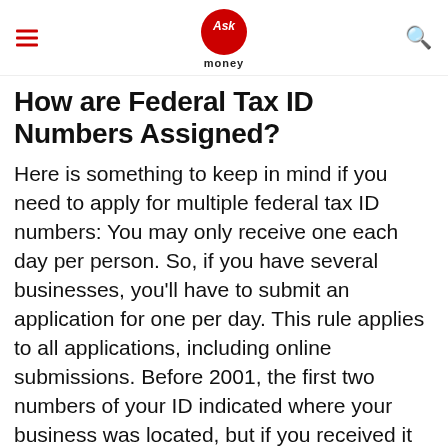Ask money
How are Federal Tax ID Numbers Assigned?
Here is something to keep in mind if you need to apply for multiple federal tax ID numbers: You may only receive one each day per person. So, if you have several businesses, you'll have to submit an application for one per day. This rule applies to all applications, including online submissions. Before 2001, the first two numbers of your ID indicated where your business was located, but if you received it after that or receive one in the future, those two numbers only indicate which IRS campus (Atlanta, Andover, Fresno, Austin,